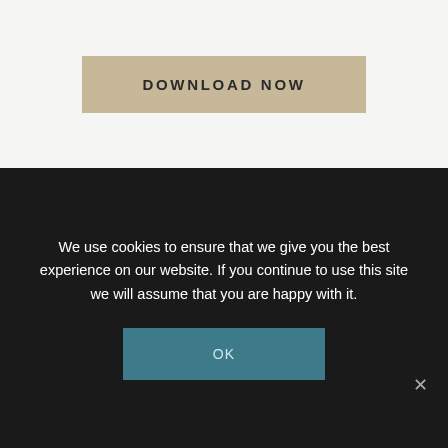[Figure (illustration): A tan/beige button with the text DOWNLOAD NOW in uppercase spaced letters]
[Figure (screenshot): A mockup showing a desktop monitor, tablet, and smartphone displaying a digital product titled WHERE SUCCESSFUL LEADERS SPEND THEIR TIME with a clock background image]
We use cookies to ensure that we give you the best experience on our website. If you continue to use this site we will assume that you are happy with it.
OK